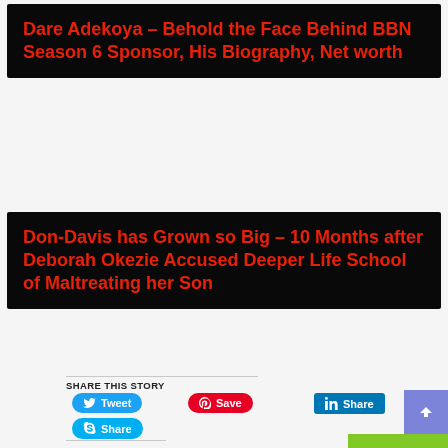[Figure (screenshot): Article card thumbnail with black background and red bold title: 'Dare Adekoya – Behold the Face Behind BBN Season 6 Sponsor, His Biography, Net worth']
Dare Adekoya – Behold the Face Behind BBN Season 6 Sponsor, His Biography, Net worth
[Figure (screenshot): Article card thumbnail with black background and red bold title: 'Don-Davis has Grown so Big – 10 Months after Deborah Okezie Accused Deeper Life School of Maltreating her Son']
Don-Davis has Grown so Big – 10 Months after Deborah Okezie Accused Deeper Life School of Maltreating her Son
SHARE THIS STORY
Tweet
Save
Share
Share
Like this:
Loading...